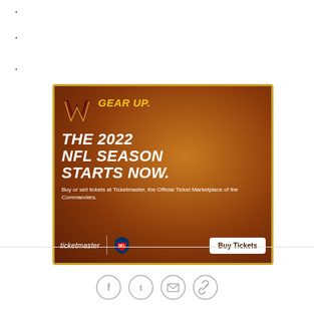[Figure (infographic): Washington Commanders NFL 2022 season Ticketmaster advertisement. Dark brown/amber gradient background with gold border. Washington Commanders W logo top left. Gold italic text 'GEAR UP.' followed by large white bold italic text 'THE 2022 NFL SEASON STARTS NOW.' Smaller white text: 'Buy or sell tickets at Ticketmaster, the Official Ticket Marketplace of the Commanders.' Bottom bar with Ticketmaster logo, NFL shield logo, and white 'Buy Tickets' button.]
[Figure (infographic): Social sharing icons row: Facebook, Twitter, Email, Link/chain icon — all in light gray circle outlines]